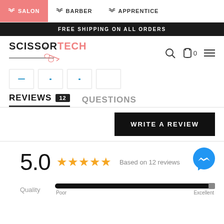✂ SALON  ✂ BARBER  ✂ APPRENTICE
FREE SHIPPING ON ALL ORDERS
[Figure (logo): ScissorTech logo with scissors graphic and text SCISSORTECH]
[Figure (screenshot): Four small product thumbnail images in a row]
REVIEWS 12  QUESTIONS
WRITE A REVIEW
5.0 ★★★★★ Based on 12 reviews
Quality  Poor ... Excellent